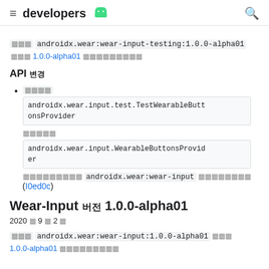≡  developers 🤖  🔍
추가  androidx.wear:wear-input-testing:1.0.0-alpha01 에서 1.0.0-alpha01 에 의존합니다
API 변경
추가  androidx.wear.input.test.TestWearableButtonsProvider 가 androidx.wear.input.WearableButtonsProvider 를 구현합니다  androidx.wear:wear-input 를 사용합니다 (I0ed0c)
Wear-Input 버전 1.0.0-alpha01
2020 년 9 월 2 일
추가  androidx.wear:wear-input:1.0.0-alpha01  를 1.0.0-alpha01 에 의존합니다